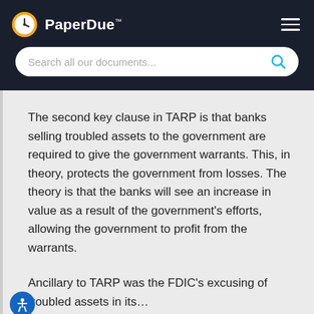PaperDue™
The second key clause in TARP is that banks selling troubled assets to the government are required to give the government warrants. This, in theory, protects the government from losses. The theory is that the banks will see an increase in value as a result of the government's efforts, allowing the government to profit from the warrants.
Ancillary to TARP was the FDIC's excusing of troubled assets in its…